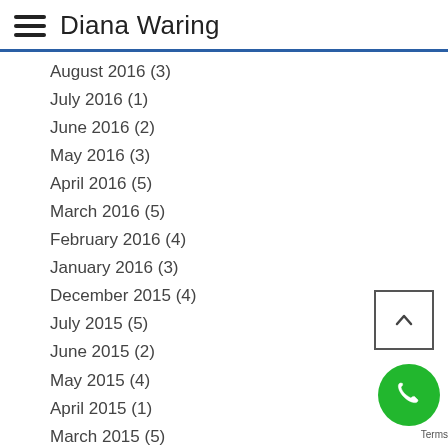Diana Waring
August 2016 (3)
July 2016 (1)
June 2016 (2)
May 2016 (3)
April 2016 (5)
March 2016 (5)
February 2016 (4)
January 2016 (3)
December 2015 (4)
July 2015 (5)
June 2015 (2)
May 2015 (4)
April 2015 (1)
March 2015 (5)
February 2015 (11)
January 2015 (8)
November 2014 (4)